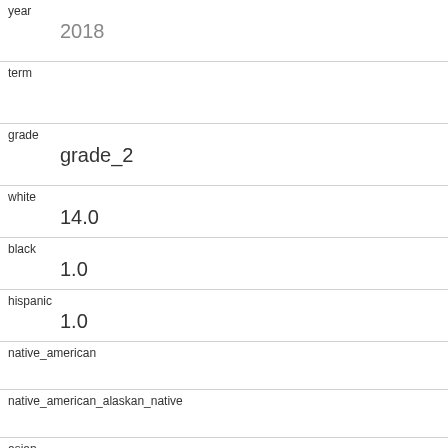| field | value |
| --- | --- |
| year | 2018 |
| term |  |
| grade | grade_2 |
| white | 14.0 |
| black | 1.0 |
| hispanic | 1.0 |
| native_american |  |
| native_american_alaskan_native |  |
| asian |  |
| native_hawaiian |  |
| asian_pacific_islander |  |